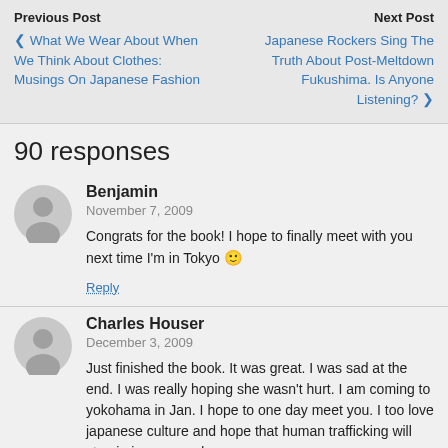Previous Post | Next Post
❮ What We Wear About When We Think About Clothes: Musings On Japanese Fashion
Japanese Rockers Sing The Truth About Post-Meltdown Fukushima. Is Anyone Listening? ❯
90 responses
Benjamin
November 7, 2009
Congrats for the book! I hope to finally meet with you next time I'm in Tokyo 🙂
Reply
Charles Houser
December 3, 2009
Just finished the book. It was great. I was sad at the end. I was really hoping she wasn't hurt. I am coming to yokohama in Jan. I hope to one day meet you. I too love japanese culture and hope that human trafficking will stop in japan one day.